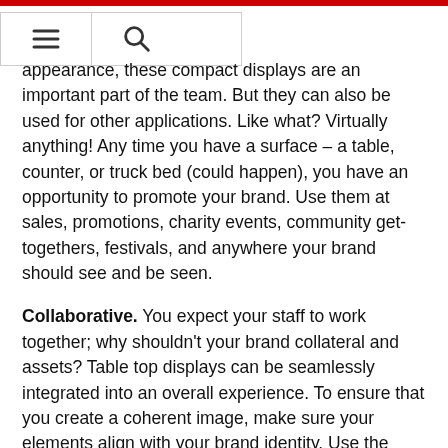appearance, these compact displays are an important part of the team. But they can also be used for other applications. Like what? Virtually anything! Any time you have a surface – a table, counter, or truck bed (could happen), you have an opportunity to promote your brand. Use them at sales, promotions, charity events, community get-togethers, festivals, and anywhere your brand should see and be seen.
Collaborative. You expect your staff to work together; why shouldn't your brand collateral and assets? Table top displays can be seamlessly integrated into an overall experience. To ensure that you create a coherent image, make sure your elements align with your brand identity. Use the same colors or fonts, for instance, or add your logo. Brand recognition, here you come. And customer loyalty tends to follow.